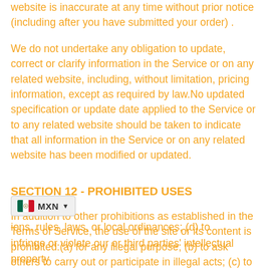website is inaccurate at any time without prior notice (including after you have submitted your order) .
We do not undertake any obligation to update, correct or clarify information in the Service or on any related website, including, without limitation, pricing information, except as required by law.No updated specification or update date applied to the Service or to any related website should be taken to indicate that all information in the Service or on any related website has been modified or updated.
SECTION 12 - PROHIBITED USES
In addition to other prohibitions as established in the Terms of Service, the use of the site or its content is prohibited:(a) for any illegal purpose; (b) to ask others to carry out or participate in illegal acts; (c) to violate any international, federal, provincial ions, rules, laws, or local ordinances; (d) to infringe or violate our or third parties' intellectual property